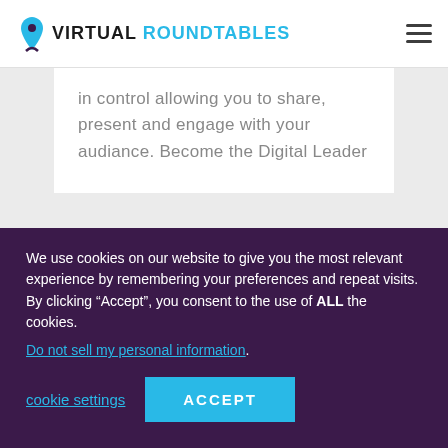VIRTUAL ROUNDTABLES
in control allowing you to share, present and engage with your audiance. Become the Digital Leader
LEARN MORE
We use cookies on our website to give you the most relevant experience by remembering your preferences and repeat visits. By clicking “Accept”, you consent to the use of ALL the cookies.
Do not sell my personal information.
cookie settings
ACCEPT